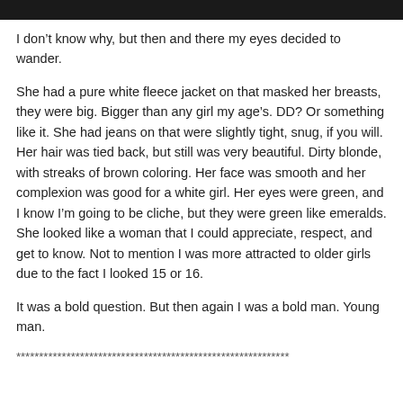I don’t know why, but then and there my eyes decided to wander.
She had a pure white fleece jacket on that masked her breasts, they were big. Bigger than any girl my age’s. DD? Or something like it. She had jeans on that were slightly tight, snug, if you will. Her hair was tied back, but still was very beautiful. Dirty blonde, with streaks of brown coloring. Her face was smooth and her complexion was good for a white girl. Her eyes were green, and I know I’m going to be cliche, but they were green like emeralds. She looked like a woman that I could appreciate, respect, and get to know. Not to mention I was more attracted to older girls due to the fact I looked 15 or 16.
It was a bold question. But then again I was a bold man. Young man.
************************************************************